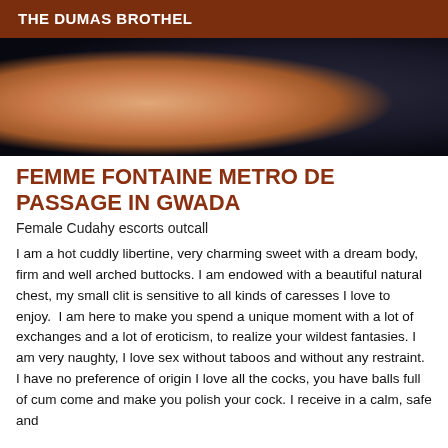THE DUMAS BROTHEL
[Figure (photo): Partial body photograph with warm skin tones on left and dark background on right]
FEMME FONTAINE METRO DE PASSAGE IN GWADA
Female Cudahy escorts outcall
I am a hot cuddly libertine, very charming sweet with a dream body, firm and well arched buttocks. I am endowed with a beautiful natural chest, my small clit is sensitive to all kinds of caresses I love to enjoy.  I am here to make you spend a unique moment with a lot of exchanges and a lot of eroticism, to realize your wildest fantasies. I am very naughty, I love sex without taboos and without any restraint. I have no preference of origin I love all the cocks, you have balls full of cum come and make you polish your cock. I receive in a calm, safe and